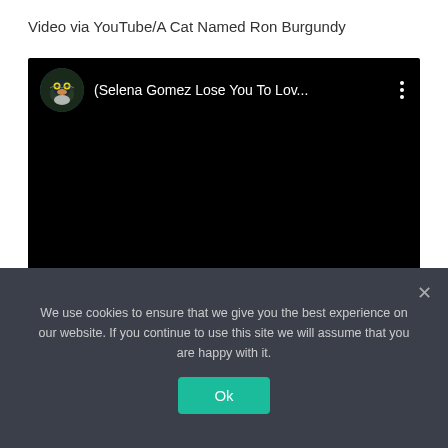Video via YouTube/A Cat Named Ron Burgundy
[Figure (screenshot): Embedded YouTube video player showing a dark/black video frame with channel avatar (cat photo) and title text reading '(Selena Gomez Lose You To Lov...' with a three-dot menu icon on the right]
II. Walking To Help Feral Cats
We use cookies to ensure that we give you the best experience on our website. If you continue to use this site we will assume that you are happy with it.